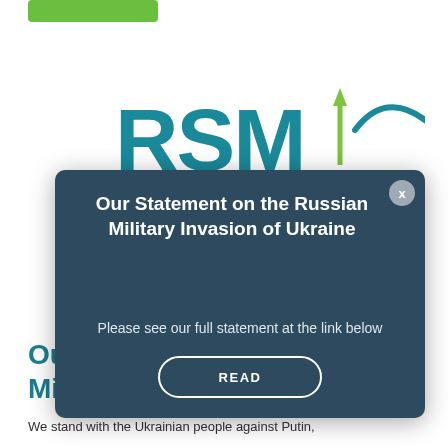[Figure (logo): RSM logo with teal lettering and a green upward arrow, partially visible]
Our Statement on the Russian Military Invasion of Ukraine
Please see our full statement at the link below
READ
Our Mi...
We stand with the Ukrainian people against Putin,